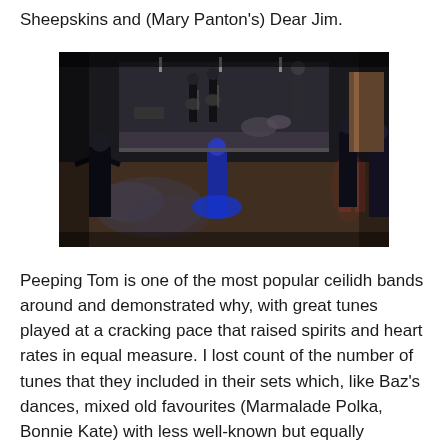Sheepskins and (Mary Panton's) Dear Jim.
[Figure (photo): A dark indoor ceilidh dance event with a band playing on a raised stage in the background (guitars, drums visible) and dancers on the floor in the foreground, illuminated by blue and red stage lighting.]
Peeping Tom is one of the most popular ceilidh bands around and demonstrated why, with great tunes played at a cracking pace that raised spirits and heart rates in equal measure. I lost count of the number of tunes that they included in their sets which, like Baz's dances, mixed old favourites (Marmalade Polka, Bonnie Kate) with less well-known but equally danceable tunes. During the dance Ripple of Teign (written by Dartmoor's Bob Cann) we were treated to solos on the cittern and guitar and a full run-through of the tune on the electric bass of John Macintosh. The pace was fast, the dancers